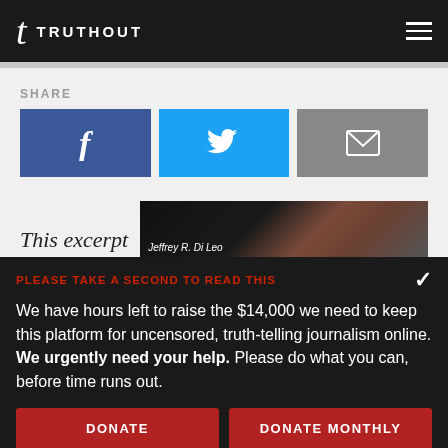TRUTHOUT
SHARE
[Figure (infographic): Social share buttons: Facebook (blue), Twitter (cyan), Email (gray)]
This excerpt
[Figure (photo): Book cover image with author name Jeffrey R. Di Leo]
PLEASE TAKE A SECOND TO READ THIS
We have hours left to raise the $14,000 we need to keep this platform for uncensored, truth-telling journalism online. We urgently need your help. Please do what you can, before time runs out.
DONATE | DONATE MONTHLY